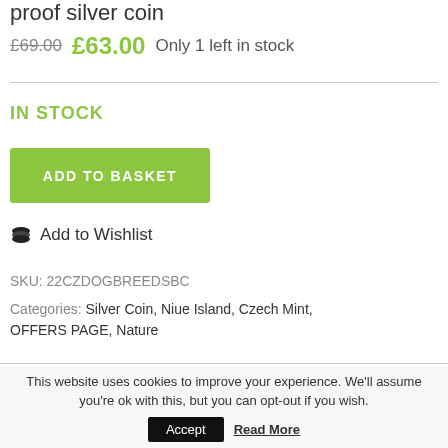proof silver coin
£69.00  £63.00  Only 1 left in stock
IN STOCK
ADD TO BASKET
Add to Wishlist
SKU: 22CZDOGBREEDSBC
Categories: Silver Coin, Niue Island, Czech Mint, OFFERS PAGE, Nature
This website uses cookies to improve your experience. We'll assume you're ok with this, but you can opt-out if you wish.
Accept
Read More